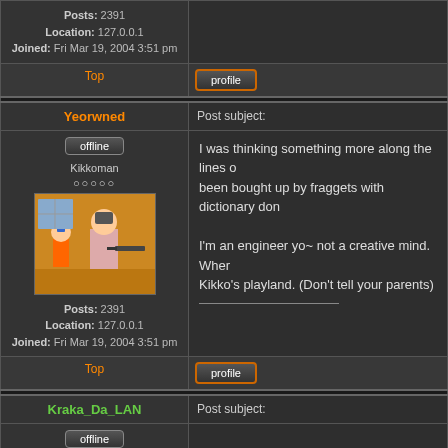Posts: 2391
Location: 127.0.0.1
Joined: Fri Mar 19, 2004 3:51 pm
Top | profile
Yeorwned
Post subject:
offline
Kikkoman
I was thinking something more along the lines o... been bought up by fraggets with dictionary don...
I'm an engineer yo~ not a creative mind. Where... Kikko's playland. (Don't tell your parents)
Posts: 2391
Location: 127.0.0.1
Joined: Fri Mar 19, 2004 3:51 pm
Top | profile
Kraka_Da_LAN
Post subject:
offline